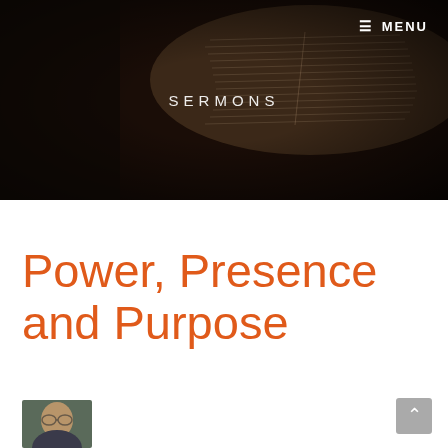[Figure (photo): Dark hero image of an open Bible with a red pen/pencil resting on it, seen from above. The background is very dark brown/black.]
≡  MENU
SERMONS
Power, Presence and Purpose
[Figure (photo): Small circular thumbnail photo of a person (partially visible, appears to be a man wearing glasses)]